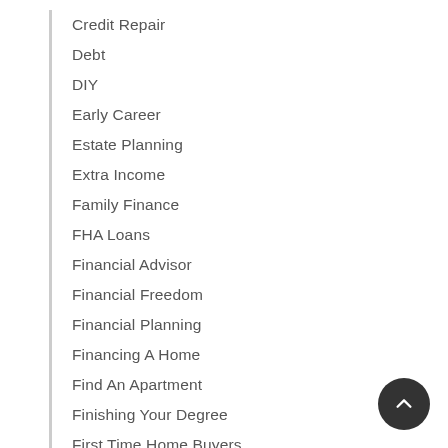Credit Repair
Debt
DIY
Early Career
Estate Planning
Extra Income
Family Finance
FHA Loans
Financial Advisor
Financial Freedom
Financial Planning
Financing A Home
Find An Apartment
Finishing Your Degree
First Time Home Buyers
Flood Insurance
Food Budgets
Frugal Living